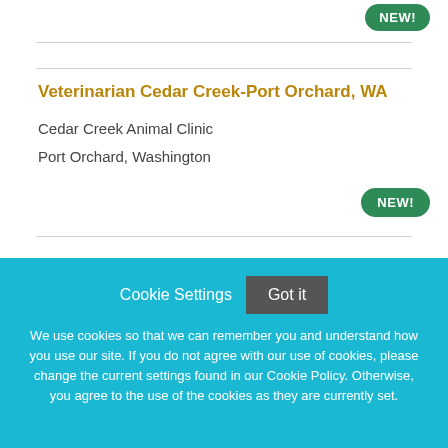Veterinarian Cedar Creek-Port Orchard, WA
Cedar Creek Animal Clinic
Port Orchard, Washington
NEW!
Cookie Settings  Got it
We use cookies so that we can remember you and understand how you use our site. If you do not agree with our use of cookies, please change the current settings found in our Cookie Policy. Otherwise, you agree to the use of the cookies as they are currently set.